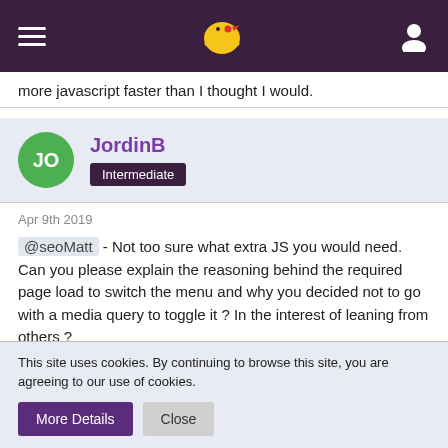Navigation header with hamburger menu, bird logo, and user icon
more javascript faster than I thought I would.
JordinB
Intermediate
Apr 9th 2019
@seoMatt - Not too sure what extra JS you would need. Can you please explain the reasoning behind the required page load to switch the menu and why you decided not to go with a media query to toggle it ? In the interest of leaning from others ?

Thanks!
This site uses cookies. By continuing to browse this site, you are agreeing to our use of cookies.